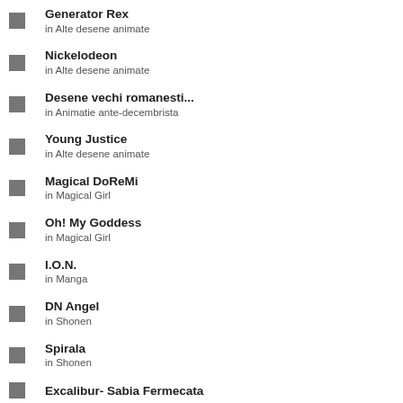Generator Rex
in Alte desene animate
Nickelodeon
in Alte desene animate
Desene vechi romanesti...
in Animatie ante-decembrista
Young Justice
in Alte desene animate
Magical DoReMi
in Magical Girl
Oh! My Goddess
in Magical Girl
I.O.N.
in Manga
DN Angel
in Shonen
Spirala
in Shonen
Excalibur- Sabia Fermecata